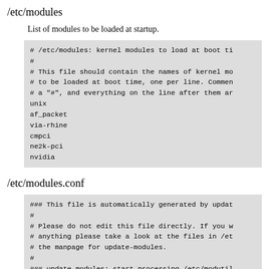/etc/modules
List of modules to be loaded at startup.
[Figure (screenshot): Code block showing /etc/modules file content with comments and module names: unix, af_packet, via-rhine, cmpci, ne2k-pci, nvidia]
/etc/modules.conf
[Figure (screenshot): Code block showing /etc/modules.conf file content with auto-generated warning comments and update-modules processing header]